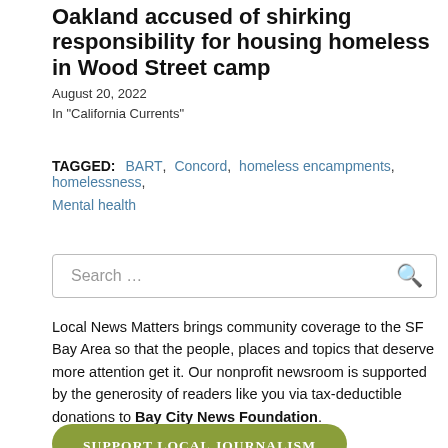Oakland accused of shirking responsibility for housing homeless in Wood Street camp
August 20, 2022
In "California Currents"
TAGGED: BART, Concord, homeless encampments, homelessness, Mental health
[Figure (screenshot): Search input box with magnifying glass icon]
Local News Matters brings community coverage to the SF Bay Area so that the people, places and topics that deserve more attention get it. Our nonprofit newsroom is supported by the generosity of readers like you via tax-deductible donations to Bay City News Foundation.
SUPPORT LOCAL JOURNALISM